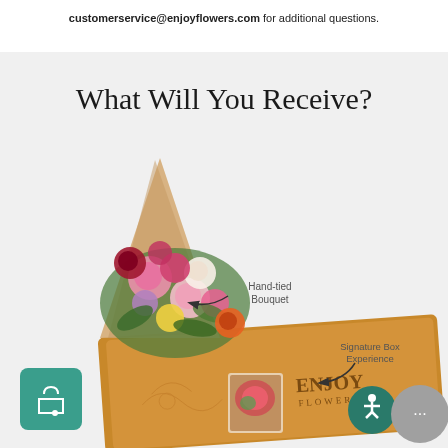customerservice@enjoyflowers.com for additional questions.
What Will You Receive?
[Figure (photo): A hand-tied bouquet of colorful flowers in kraft paper wrap, an Enjoy Flowers branded signature box, a small photo of flowers, and UI icons (shopping bag with heart, accessibility, chat). Labels point to 'Hand-tied Bouquet' and 'Signature Box Experience'.]